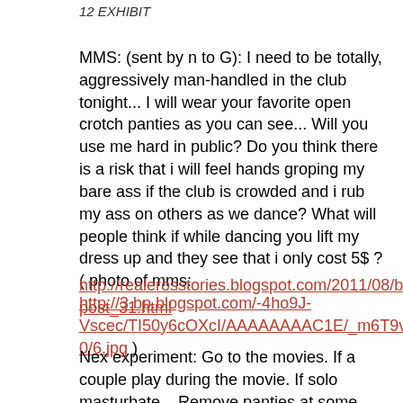12 EXHIBIT
MMS: (sent by n to G): I need to be totally, aggressively man-handled in the club tonight... I will wear your favorite open crotch panties as you can see... Will you use me hard in public? Do you think there is a risk that i will feel hands groping my bare ass if the club is crowded and i rub my ass on others as we dance? What will people think if while dancing you lift my dress up and they see that i only cost 5$ ?
( photo of mms: http://3.bp.blogspot.com/-4ho9J-Vscec/TI50y6cOXcI/AAAAAAAAC1E/_m6T9vy5onU/s320/6.jpg )

http://realerosstories.blogspot.com/2011/08/blog-post_31.html
Nex experiment: Go to the movies. If a couple play during the movie. If solo masturbate... Remove panties at some point. If smoking go outside till the movie ends. Whe...